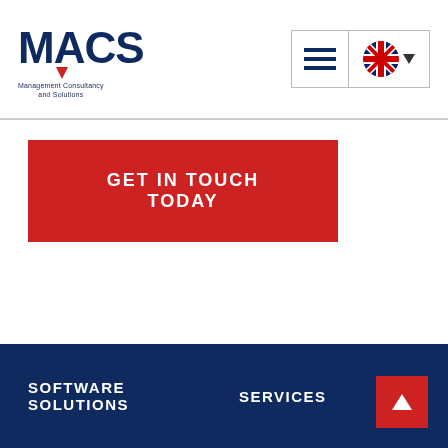[Figure (logo): MACS logo - Management Consultancy and Solutions with red downward arrow accent]
[Figure (other): Navigation controls: hamburger menu icon and UK flag with dropdown arrow]
GET IN TOUCH TODAY
SOFTWARE SOLUTIONS   SERVICES